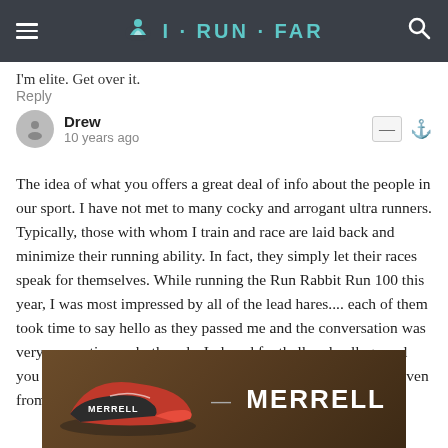I·RUN·FAR
I&#039m elite. Get over it.
Reply
Drew
10 years ago
The idea of what you offers a great deal of info about the people in our sport. I have not met to many cocky and arrogant ultra runners. Typically, those with whom I train and race are laid back and minimize their running ability. In fact, they simply let their races speak for themselves. While running the Run Rabbit Run 100 this year, I was most impressed by all of the lead hares.... each of them took time to say hello as they passed me and the conversation was very supportive on both ends. I played football and college and you would never see that level of sincere encouragement, not even from your own coach and teammate. So
[Figure (photo): Merrell running shoe advertisement banner showing trail running shoes in action with the Merrell brand name prominently displayed]